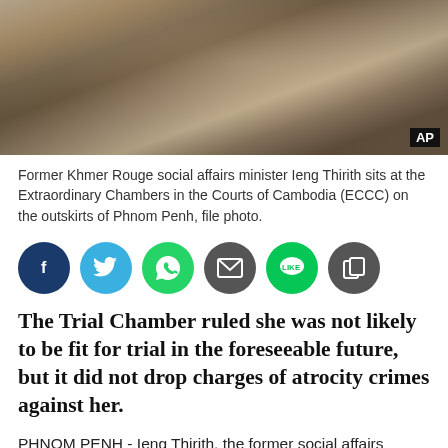[Figure (photo): Close-up photograph of former Khmer Rouge social affairs minister Ieng Thirith, an elderly woman. AP watermark badge visible in bottom-right corner.]
Former Khmer Rouge social affairs minister Ieng Thirith sits at the Extraordinary Chambers in the Courts of Cambodia (ECCC) on the outskirts of Phnom Penh, file photo.
[Figure (infographic): Row of six social media sharing icons: Facebook (dark blue), Twitter (light blue), WhatsApp (green), Email (dark grey), LINE (green), Copy/share (dark grey).]
The Trial Chamber ruled she was not likely to be fit for trial in the foreseeable future, but it did not drop charges of atrocity crimes against her.
PHNOM PENH - Ieng Thirith, the former social affairs minister for the Khmer Rouge who has been jailed since 2007, has been found unfit to stand trial at the UN-backed tribunal and is scheduled to be released